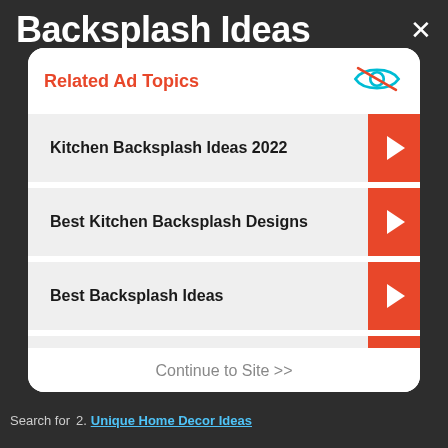Backsplash Ideas
Related Ad Topics
Kitchen Backsplash Ideas 2022
Best Kitchen Backsplash Designs
Best Backsplash Ideas
Unique Home Decor Ideas
Continue to Site >>
Search for
2. Unique Home Decor Ideas